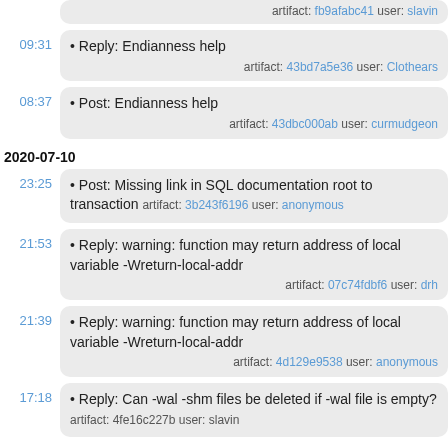artifact: fb9afabc41 user: slavin
09:31 • Reply: Endianness help — artifact: 43bd7a5e36 user: Clothears
08:37 • Post: Endianness help — artifact: 43dbc000ab user: curmudgeon
2020-07-10
23:25 • Post: Missing link in SQL documentation root to transaction — artifact: 3b243f6196 user: anonymous
21:53 • Reply: warning: function may return address of local variable -Wreturn-local-addr — artifact: 07c74fdbf6 user: drh
21:39 • Reply: warning: function may return address of local variable -Wreturn-local-addr — artifact: 4d129e9538 user: anonymous
17:18 • Reply: Can -wal -shm files be deleted if -wal file is empty? — artifact: 4fe16c227b user: slavin